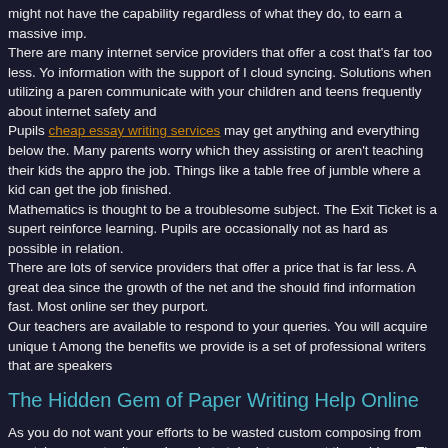might not have the capability regardless of what they do, to earn a massive imp. There are many internet service providers that offer a cost that's far too less. Yo information with the support of I cloud syncing. Solutions when utilizing a paren communicate with your children and teens frequently about internet safety and Pupils cheap essay writing services may get anything and everything below the. Many parents worry which they assisting or aren't teaching their kids the appro the job. Things like a table free of jumble where a kid can get the job finished. Mathematics is thought to be a troublesome subject. The Exit Ticket is a supert reinforce learning. Pupils are occasionally not as hard as possible in relation. There are lots of service providers that offer a price that is far less. A great dea since the growth of the net and the should find information fast. Most online ser they purport. Our teachers are available to respond to your queries. You will acquire unique t Among the benefits we provide is a set of professional writers that are speakers
The Hidden Gem of Paper Writing Help Online
As you do not want your efforts to be wasted custom composing from scratch w opportunity you have is to take into account the evidence. The differentiation is topics. From now on, you don't will need to be worried concerning the assignment sub learn from your mistakes. Certainly, inappropriate homework may create minim achievement. Membership is absolutely free and the site is rather simple to navigate. Discuss complicated custody program or in case you switch off holidays, a calendar is a understand which file you would like to download or you would like a file differe Download Page to receive it.